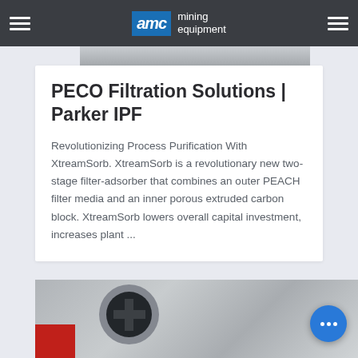AMC mining equipment
[Figure (photo): Top partial image strip showing what appears to be industrial filtration or mining equipment]
PECO Filtration Solutions | Parker IPF
Revolutionizing Process Purification With XtreamSorb. XtreamSorb is a revolutionary new two-stage filter-adsorber that combines an outer PEACH filter media and an inner porous extruded carbon block. XtreamSorb lowers overall capital investment, increases plant ...
[Figure (photo): Bottom partial image showing circular cross-section of a filtration component with red element, likely showing a filter cartridge or end cap]
[Figure (other): Blue circular chat/support button with ellipsis dots in the bottom right corner]